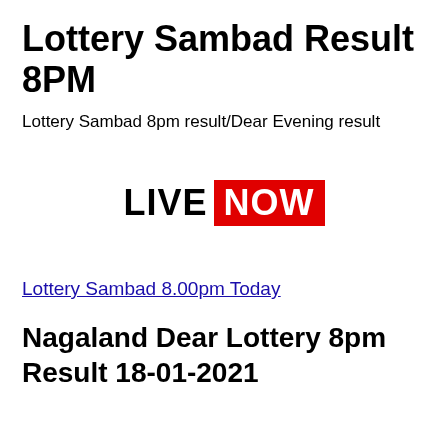Lottery Sambad Result 8PM
Lottery Sambad 8pm result/Dear Evening result
[Figure (infographic): LIVE NOW badge with black bold text 'LIVE' followed by red background box with white bold text 'NOW']
Lottery Sambad 8.00pm Today
Nagaland Dear Lottery 8pm Result 18-01-2021